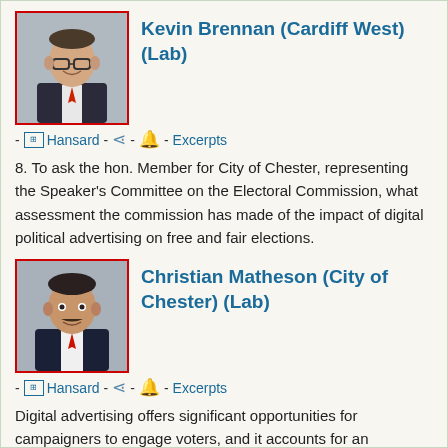Kevin Brennan (Cardiff West) (Lab)
- Hansard - Share - Bell - Excerpts
8. To ask the hon. Member for City of Chester, representing the Speaker's Committee on the Electoral Commission, what assessment the commission has made of the impact of digital political advertising on free and fair elections.
Christian Matheson (City of Chester) (Lab)
- Hansard - Share - Bell - Excerpts
Digital advertising offers significant opportunities for campaigners to engage voters, and it accounts for an increasingly large proportion of election campaign spending. However, research conducted by the Electoral Commission shows that…